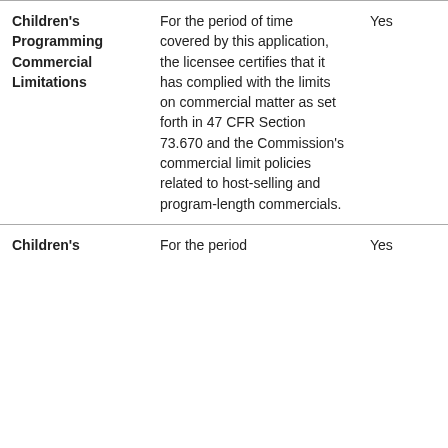| Children's Programming Commercial Limitations | For the period of time covered by this application, the licensee certifies that it has complied with the limits on commercial matter as set forth in 47 CFR Section 73.670 and the Commission's commercial limit policies related to host-selling and program-length commercials. | Yes |
| Children's | For the period | Yes |